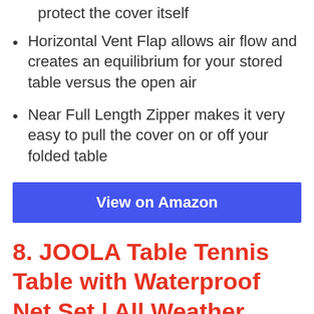protect the cover itself
Horizontal Vent Flap allows air flow and creates an equilibrium for your stored table versus the open air
Near Full Length Zipper makes it very easy to pull the cover on or off your folded table
View on Amazon
8. JOOLA Table Tennis Table with Waterproof Net Set | All Weather Aluminum Composite Ping Pong Table for Tournament Quality Play | Indoor & Outdoor